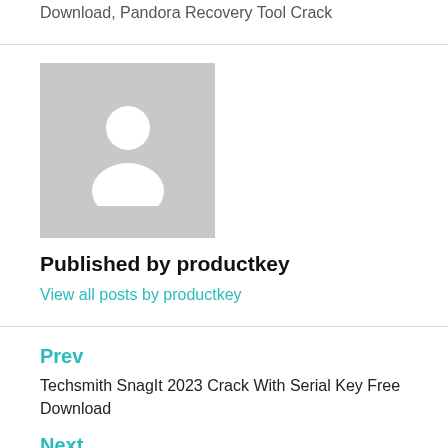Download, Pandora Recovery Tool Crack
[Figure (illustration): Default user avatar placeholder — grey square with white silhouette of a person]
Published by productkey
View all posts by productkey
Prev
Techsmith SnagIt 2023 Crack With Serial Key Free Download
Next
AVS Video Editor 9.7.1.386 Crack + Activation Key